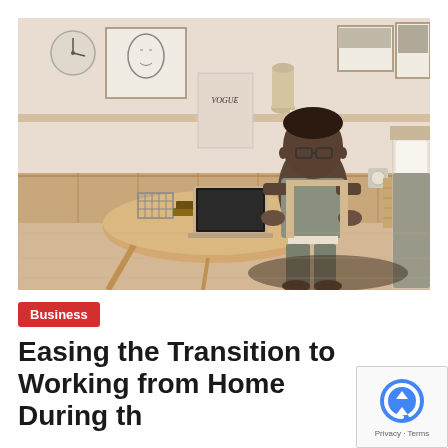[Figure (photo): A person sitting at a wooden round table working on a laptop in a bedroom setting with wooden wall paneling, a Vogue magazine cover on display, a lamp, and a bed visible on the right side. Artwork and a clock are on the wall in the background.]
Business
Easing the Transition to Working from Home During th...